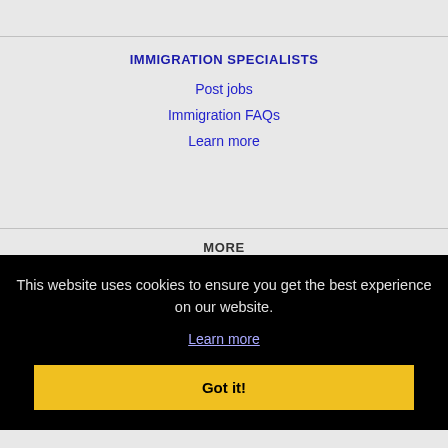IMMIGRATION SPECIALISTS
Post jobs
Immigration FAQs
Learn more
MORE
This website uses cookies to ensure you get the best experience on our website.
Learn more
Got it!